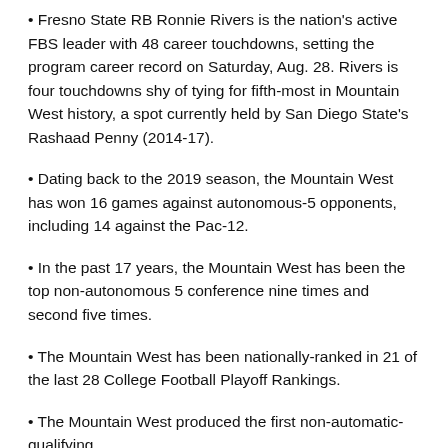• Fresno State RB Ronnie Rivers is the nation's active FBS leader with 48 career touchdowns, setting the program career record on Saturday, Aug. 28. Rivers is four touchdowns shy of tying for fifth-most in Mountain West history, a spot currently held by San Diego State's Rashaad Penny (2014-17).
• Dating back to the 2019 season, the Mountain West has won 16 games against autonomous-5 opponents, including 14 against the Pac-12.
• In the past 17 years, the Mountain West has been the top non-autonomous 5 conference nine times and second five times.
• The Mountain West has been nationally-ranked in 21 of the last 28 College Football Playoff Rankings.
• The Mountain West produced the first non-automatic-qualifying